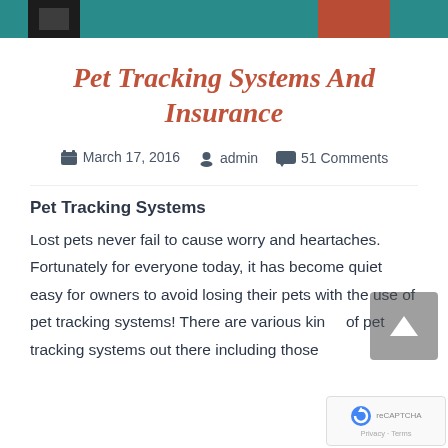Pet Tracking Systems And Insurance
March 17, 2016    admin    51 Comments
Pet Tracking Systems
Lost pets never fail to cause worry and heartaches. Fortunately for everyone today, it has become quiet easy for owners to avoid losing their pets with the use of pet tracking systems! There are various kinds of pet tracking systems out there including those